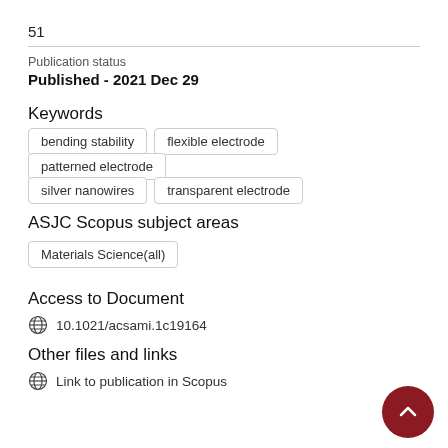51
Publication status
Published - 2021 Dec 29
Keywords
bending stability
flexible electrode
patterned electrode
silver nanowires
transparent electrode
ASJC Scopus subject areas
Materials Science(all)
Access to Document
10.1021/acsami.1c19164
Other files and links
Link to publication in Scopus